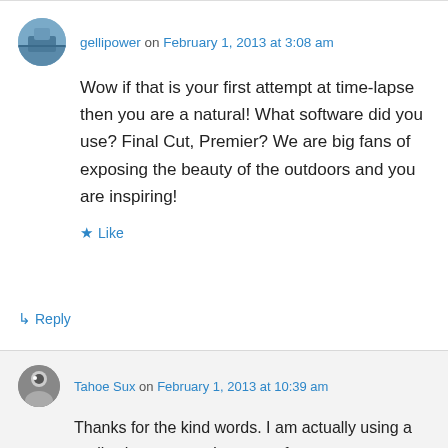gellipower on February 1, 2013 at 3:08 am
Wow if that is your first attempt at time-lapse then you are a natural! What software did you use? Final Cut, Premier? We are big fans of exposing the beauty of the outdoors and you are inspiring!
★ Like
↳ Reply
Tahoe Sux on February 1, 2013 at 10:39 am
Thanks for the kind words. I am actually using a really cheap setup. In terms of